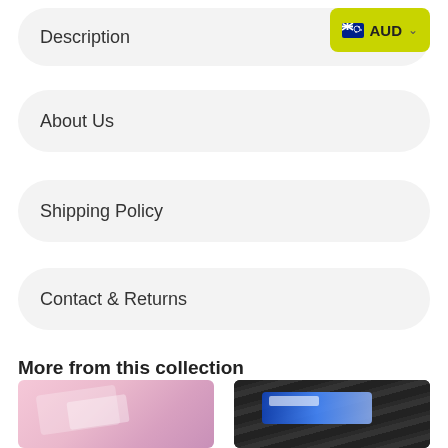Description
AUD
About Us
Shipping Policy
Contact & Returns
More from this collection
[Figure (photo): Pink fabric or packaging product photo]
[Figure (photo): Dark product with blue label/card detail]